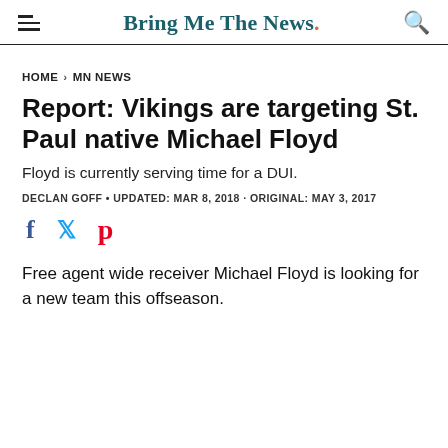Bring Me The News.
HOME > MN NEWS
Report: Vikings are targeting St. Paul native Michael Floyd
Floyd is currently serving time for a DUI.
DECLAN GOFF • UPDATED: MAR 8, 2018 · ORIGINAL: MAY 3, 2017
Free agent wide receiver Michael Floyd is looking for a new team this offseason.